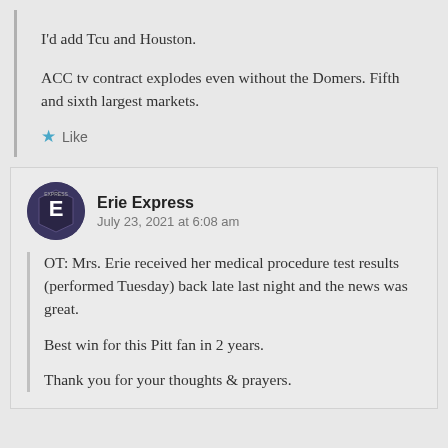I'd add Tcu and Houston.
ACC tv contract explodes even without the Domers. Fifth and sixth largest markets.
★ Like
Erie Express
July 23, 2021 at 6:08 am
OT: Mrs. Erie received her medical procedure test results (performed Tuesday) back late last night and the news was great.
Best win for this Pitt fan in 2 years.
Thank you for your thoughts & prayers.